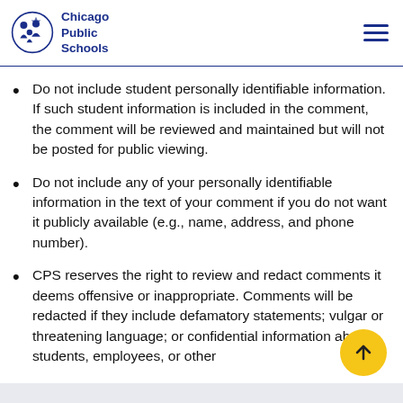Chicago Public Schools
Do not include student personally identifiable information. If such student information is included in the comment, the comment will be reviewed and maintained but will not be posted for public viewing.
Do not include any of your personally identifiable information in the text of your comment if you do not want it publicly available (e.g., name, address, and phone number).
CPS reserves the right to review and redact comments it deems offensive or inappropriate. Comments will be redacted if they include defamatory statements; vulgar or threatening language; or confidential information about students, employees, or other